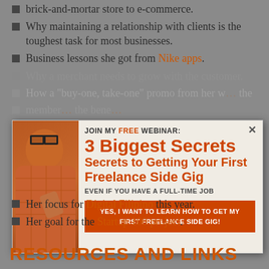brick-and-mortar store to e-commerce.
Why maintaining a relationship with clients is the toughest task for most businesses.
Business lessons she got from Nike apps.
Why a merchant needs to grow with the customer.
How a "buy-one, take-one" promo from her w... the
member... the bene...
The diffe... local Filipino...
[Figure (infographic): Popup overlay showing a webinar advertisement with a person in an orange plaid shirt and sunglasses. Text reads: JOIN MY FREE WEBINAR: 3 Biggest Secrets Secrets to Getting Your First Freelance Side Gig EVEN IF YOU HAVE A FULL-TIME JOB. CTA button: YES, I WANT TO LEARN HOW TO GET MY FIRST FREELANCE SIDE GIG!]
Her focus for Digital Filipino this year.
Her goal for the Startup 100 project.
RESOURCES AND LINKS